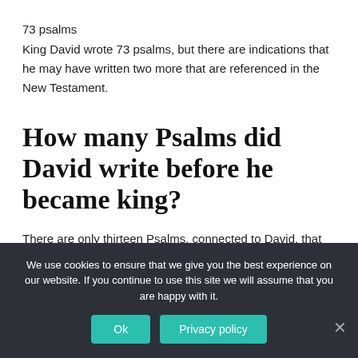73 psalms
King David wrote 73 psalms, but there are indications that he may have written two more that are referenced in the New Testament.
How many Psalms did David write before he became king?
There are only thirteen Psalms, connected to David, that have a historical title (Psalm 3, 7, 18, 34, 51, 52, 54, 56, 57, 59, 60, 63,
We use cookies to ensure that we give you the best experience on our website. If you continue to use this site we will assume that you are happy with it.